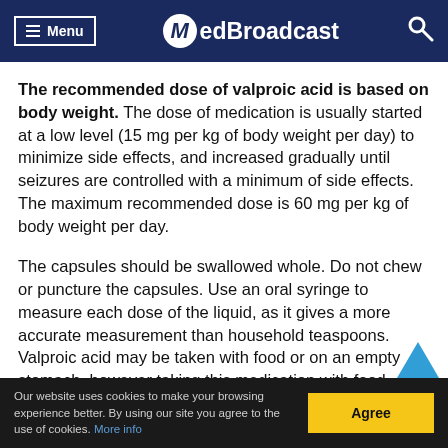Menu  MedBroadcast
The recommended dose of valproic acid is based on body weight. The dose of medication is usually started at a low level (15 mg per kg of body weight per day) to minimize side effects, and increased gradually until seizures are controlled with a minimum of side effects. The maximum recommended dose is 60 mg per kg of body weight per day.
The capsules should be swallowed whole. Do not chew or puncture the capsules. Use an oral syringe to measure each dose of the liquid, as it gives a more accurate measurement than household teaspoons. Valproic acid may be taken with food or on an empty stomach, however taking this medication with food
Our website uses cookies to make your browsing experience better. By using our site you agree to the use of cookies. More info